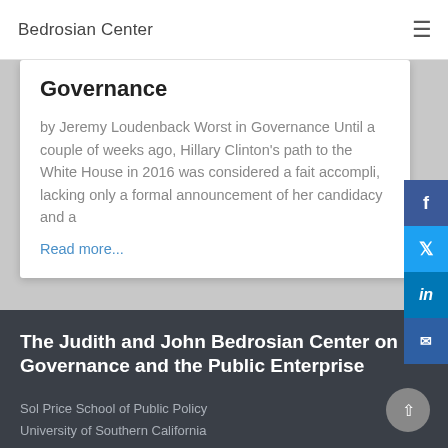Bedrosian Center
Governance
by Jeremy Loudenback Worst in Governance Until a couple of weeks ago, Hillary Clinton's path to the White House in 2016 was considered a fait accompli, lacking only a formal announcement of her candidacy and a
Read more...
The Judith and John Bedrosian Center on Governance and the Public Enterprise
Sol Price School of Public Policy
University of Southern California